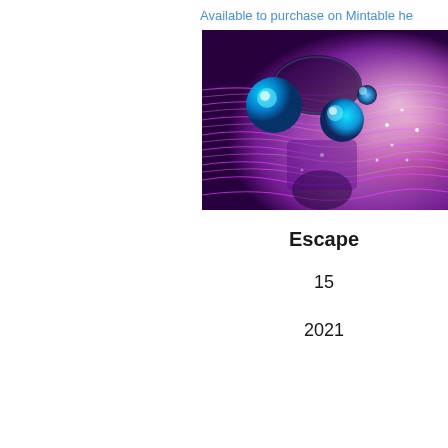Available to purchase on Mintable he
[Figure (illustration): Digital artwork showing glowing cyan/blue spheres and swirling purple and magenta energy waves on a dark cosmic background with sparkle effects]
Escape
15
2021